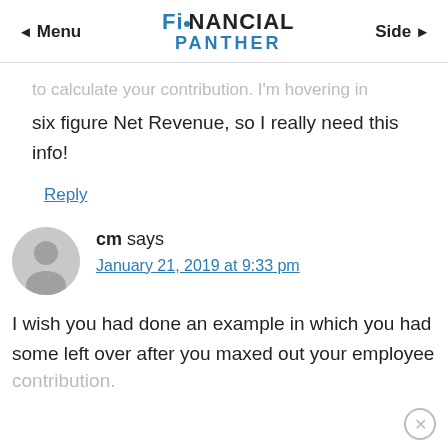◄ Menu  Financial Panther  Side ►
to calculate your contribution. I'm hovering in six figure Net Revenue, so I really need this info!
Reply
cm says
January 21, 2019 at 9:33 pm
I wish you had done an example in which you had some left over after you maxed out your employee contribution.